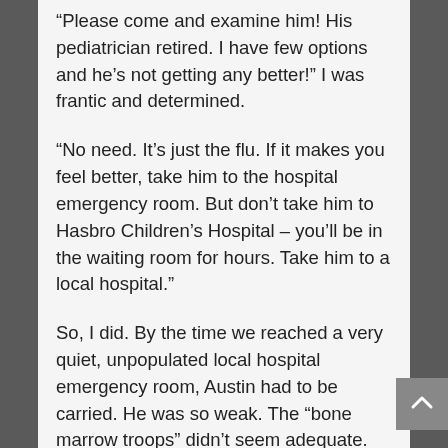“Please come and examine him! His pediatrician retired. I have few options and he’s not getting any better!” I was frantic and determined.
“No need. It’s just the flu. If it makes you feel better, take him to the hospital emergency room. But don’t take him to Hasbro Children’s Hospital – you’ll be in the waiting room for hours. Take him to a local hospital.”
So, I did. By the time we reached a very quiet, unpopulated local hospital emergency room, Austin had to be carried. He was so weak. The “bone marrow troops” didn’t seem adequate. Fortunately, we were greeted by a gregarious,